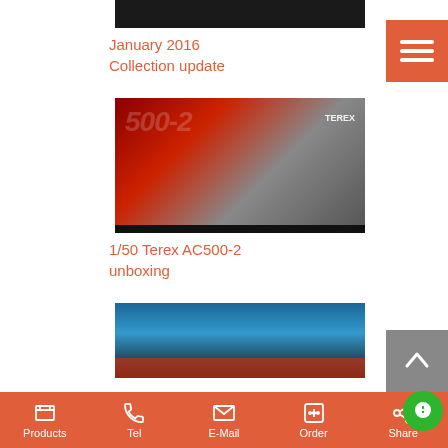[Figure (photo): Top partial thumbnail image with dark background]
January 2016
Collection update
[Figure (photo): 1/50 Terex AC500-2 crane model unboxing photo with red branding]
1/50 Terex AC500-2 unboxing
[Figure (photo): Third thumbnail image with blue background and red accents]
Products  Tel  E-Mail  Order  Share